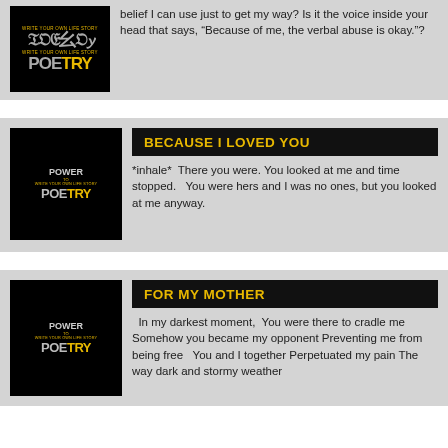belief I can use just to get my way? Is it the voice inside your head that says, “Because of me, the verbal abuse is okay.”?
BECAUSE I LOVED YOU
*inhale*  There you were. You looked at me and time stopped.  You were hers and I was no ones, but you looked at me anyway.
FOR MY MOTHER
In my darkest moment,  You were there to cradle me Somehow you became my opponent Preventing me from being free  You and I together Perpetuated my pain The way dark and stormy weather